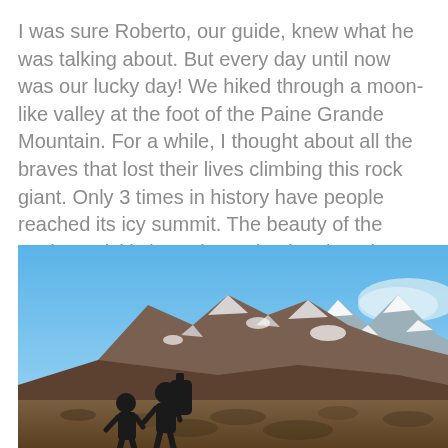I was sure Roberto, our guide, knew what he was talking about. But every day until now was our lucky day! We hiked through a moon-like valley at the foot of the Paine Grande Mountain. For a while, I thought about all the braves that lost their lives climbing this rock giant. Only 3 times in history have people reached its icy summit. The beauty of the setting quickly brought me back to happier thoughts.
[Figure (photo): Two hikers with backpacks silhouetted in the foreground against a dramatic mountain landscape with snow-capped peaks (Paine Grande area, Patagonia) under a blue sky.]